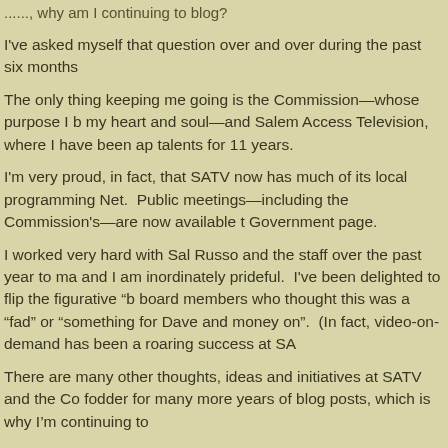......, why am I continuing to blog?
I've asked myself that question over and over during the past six months
The only thing keeping me going is the Commission—whose purpose I b my heart and soul—and Salem Access Television, where I have been ap talents for 11 years.
I'm very proud, in fact, that SATV now has much of its local programming Net. Public meetings—including the Commission's—are now available t Government page.
I worked very hard with Sal Russo and the staff over the past year to ma and I am inordinately prideful. I've been delighted to flip the figurative "b board members who thought this was a "fad" or "something for Dave and money on". (In fact, video-on-demand has been a roaring success at SA
There are many other thoughts, ideas and initiatives at SATV and the Co fodder for many more years of blog posts, which is why I'm continuing to
But I will never, ever, let myself believe that I have a stake and a say with Salem.